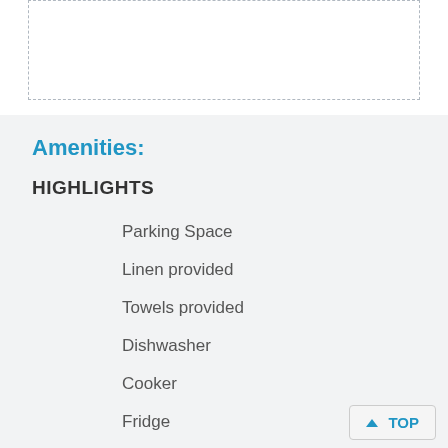Amenities:
HIGHLIGHTS
Parking Space
Linen provided
Towels provided
Dishwasher
Cooker
Fridge
Washing Machine
Television